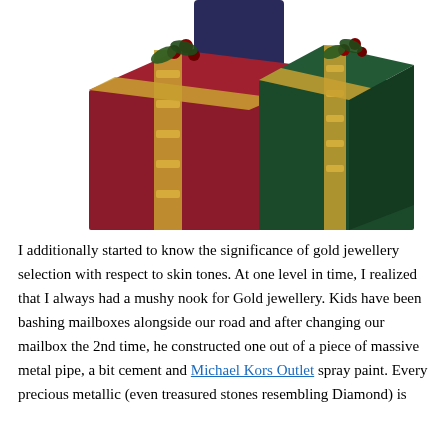[Figure (photo): Two decorative gift boxes wrapped in velvet fabric — one red and one dark green — with ornate gold ribbon trim and small red berries on top. A dark blue gift bag is partially visible in the background. The boxes are set against a white background.]
I additionally started to know the significance of gold jewellery selection with respect to skin tones. At one level in time, I realized that I always had a mushy nook for Gold jewellery. Kids have been bashing mailboxes alongside our road and after changing our mailbox the 2nd time, he constructed one out of a piece of massive metal pipe, a bit cement and Michael Kors Outlet spray paint. Every precious metallic (even treasured stones resembling Diamond) is